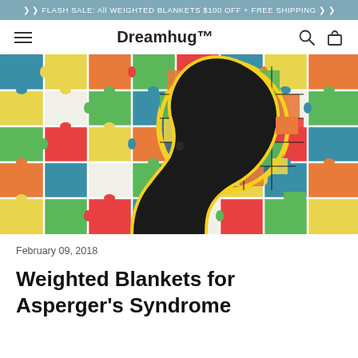❯ ❯ FLASH SALE: All WEIGHTED BLANKETS $100 OFF + FREE SHIPPING ❯ ❯
Dreamhug™
[Figure (illustration): Colorful puzzle pieces background with a silhouette of a human head in profile, the brain area filled with multicolored puzzle pieces forming a globe/brain shape, outlined in yellow.]
February 09, 2018
Weighted Blankets for Asperger's Syndrome